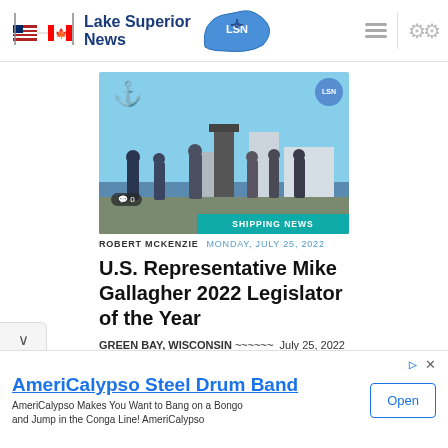Lake Superior News
[Figure (photo): Group of people standing outdoors near a waterfront monument or statue, with water and buildings visible in background. Overlay shows SHIPPING NEWS banner and comment bubble with 0.]
ROBERT MCKENZIE  MONDAY, JULY 25, 2022
U.S. Representative Mike Gallagher 2022 Legislator of the Year
GREEN BAY, WISCONSIN ~~~~~~  July 25, 2022 (LSNews) On Friday, July
AmeriCalypso Steel Drum Band
AmeriCalypso Makes You Want to Bang on a Bongo and Jump in the Conga Line! AmeriCalypso
Open